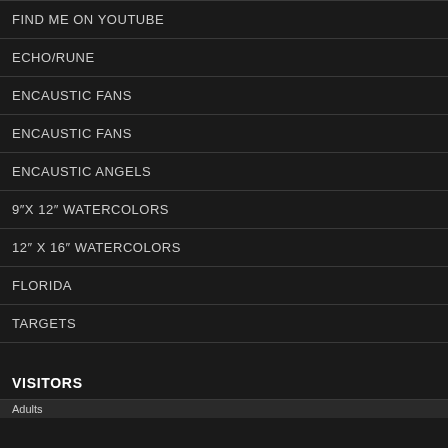FIND ME ON YOUTUBE
ECHO/RUNE
ENCAUSTIC FANS
ENCAUSTIC FANS
ENCAUSTIC ANGELS
9"X 12" WATERCOLORS
12" X 16" WATERCOLORS
FLORIDA
TARGETS
VISITORS
Adults